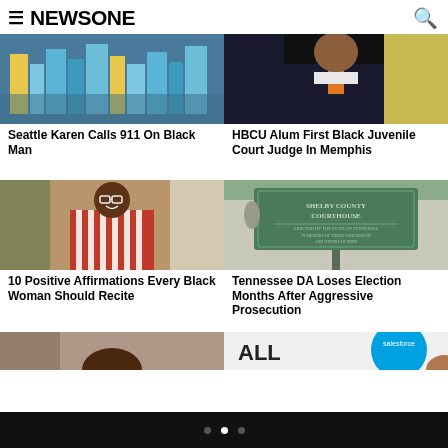NEWSONE
[Figure (photo): Aerial view of city buildings in Seattle]
Seattle Karen Calls 911 On Black Man
[Figure (photo): Person in suit with orange tie]
HBCU Alum First Black Juvenile Court Judge In Memphis
[Figure (photo): Smiling Black woman in striped shirt with glasses]
10 Positive Affirmations Every Black Woman Should Recite
[Figure (photo): Shelby County Courthouse historic marker sign]
Tennessee DA Loses Election Months After Aggressive Prosecution
[Figure (photo): Partial image - person]
[Figure (photo): Partial image - Salesforce logo and person]